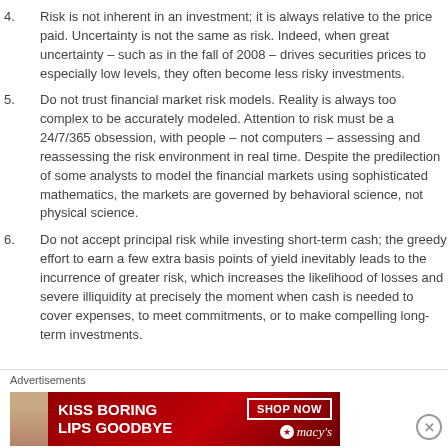4. Risk is not inherent in an investment; it is always relative to the price paid. Uncertainty is not the same as risk. Indeed, when great uncertainty – such as in the fall of 2008 – drives securities prices to especially low levels, they often become less risky investments.
5. Do not trust financial market risk models. Reality is always too complex to be accurately modeled. Attention to risk must be a 24/7/365 obsession, with people – not computers – assessing and reassessing the risk environment in real time. Despite the predilection of some analysts to model the financial markets using sophisticated mathematics, the markets are governed by behavioral science, not physical science.
6. Do not accept principal risk while investing short-term cash; the greedy effort to earn a few extra basis points of yield inevitably leads to the incurrence of greater risk, which increases the likelihood of losses and severe illiquidity at precisely the moment when cash is needed to cover expenses, to meet commitments, or to make compelling long-term investments.
[Figure (illustration): Macy's advertisement banner: 'KISS BORING LIPS GOODBYE' with SHOP NOW button and Macy's logo, with a woman's face/lips photo]